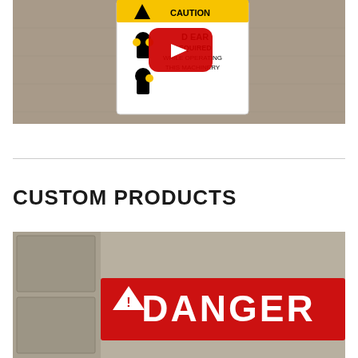[Figure (photo): A CAUTION sign on a concrete wall that reads 'EAR [PROTECTION] REQUIRED WHILE OPERATING THIS MACHINERY', with a YouTube play button overlay on the image.]
CUSTOM PRODUCTS
[Figure (photo): A DANGER sign (red with white text and triangle warning symbol) mounted on a surface, partially visible showing the word DANGER.]